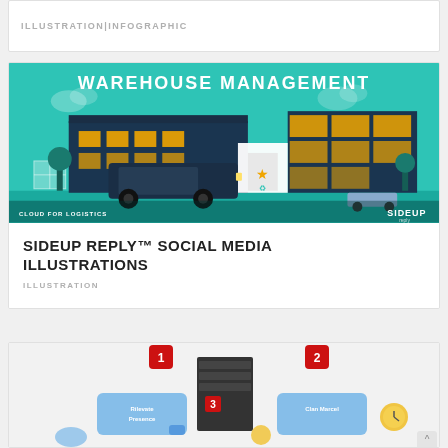ILLUSTRATION|INFOGRAPHIC
[Figure (illustration): Warehouse Management infographic illustration showing a warehouse building with shipping containers, a forklift truck, and the SIDEUP branding. Text reads WAREHOUSE MANAGEMENT and CLOUD FOR LOGISTICS.]
SIDEUP REPLY™ SOCIAL MEDIA ILLUSTRATIONS
ILLUSTRATION
[Figure (infographic): Isometric infographic showing numbered steps (1, 2, 3) with floating cards labeled Rilevate Presence and Clan Marcel, a server rack, clock icons, and other business process elements on a light background.]